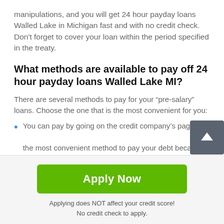manipulations, and you will get 24 hour payday loans Walled Lake in Michigan fast and with no credit check. Don't forget to cover your loan within the period specified in the treaty.
What methods are available to pay off 24 hour payday loans Walled Lake MI?
There are several methods to pay for your “pre-salary” loans. Choose the one that is the most convenient for you:
You can pay by going on the credit company's page the most convenient method to pay your debt because you don't need to leave your house.
Apply Now
Applying does NOT affect your credit score!
No credit check to apply.